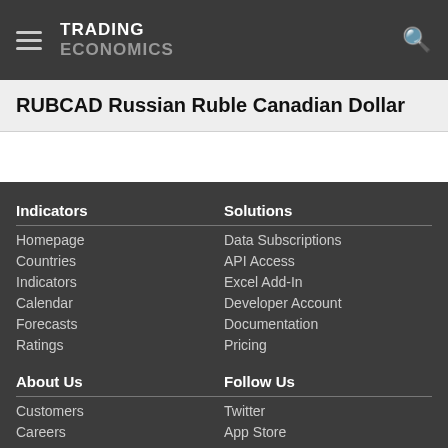TRADING ECONOMICS
RUBCAD Russian Ruble Canadian Dollar
Indicators
Homepage
Countries
Indicators
Calendar
Forecasts
Ratings
Solutions
Data Subscriptions
API Access
Excel Add-In
Developer Account
Documentation
Pricing
About Us
Customers
Careers
Follow Us
Twitter
App Store